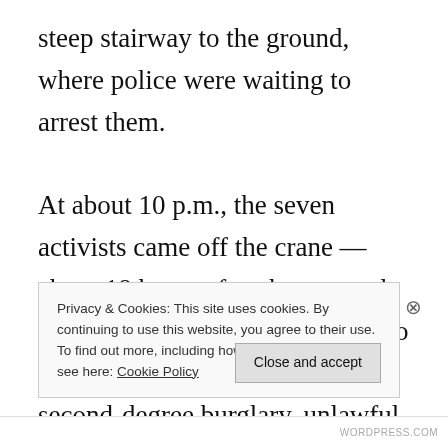steep stairway to the ground, where police were waiting to arrest them.
At about 10 p.m., the seven activists came off the crane — about 18 hours after they started their climb — and were taken into custody. They were charged with second-degree burglary, unlawful entry, and destruction of
Privacy & Cookies: This site uses cookies. By continuing to use this website, you agree to their use. To find out more, including how to control cookies, see here: Cookie Policy
Close and accept